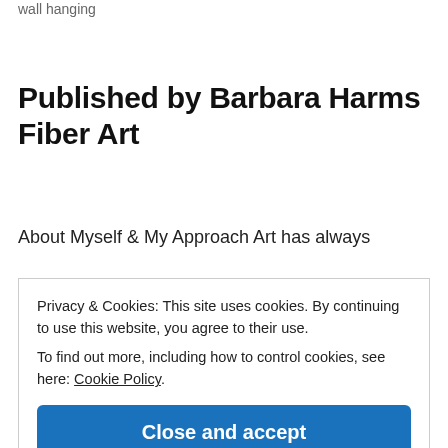wall hanging
Published by Barbara Harms Fiber Art
About Myself & My Approach Art has always
Privacy & Cookies: This site uses cookies. By continuing to use this website, you agree to their use.
To find out more, including how to control cookies, see here: Cookie Policy
Close and accept
to Oregon years later. I was introduced to quilting